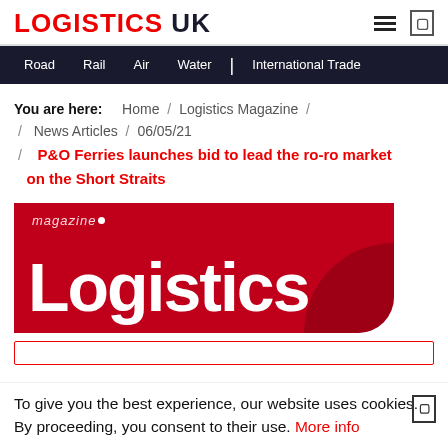LOGISTICS UK
Road / Rail / Air / Water / International Trade
You are here: Home / Logistics Magazine / News Articles / 06/05/21 / P&O Ferries launches bid to lead the ro-ro market on the Short Straits
[Figure (logo): Logistics Magazine logo — red background with white text reading 'magazine' (italic, small) with a dot, and large bold 'Logistics' text below, rounded bottom-right corner dark red curve.]
To give you the best experience, our website uses cookies. By proceeding, you consent to their use. More info